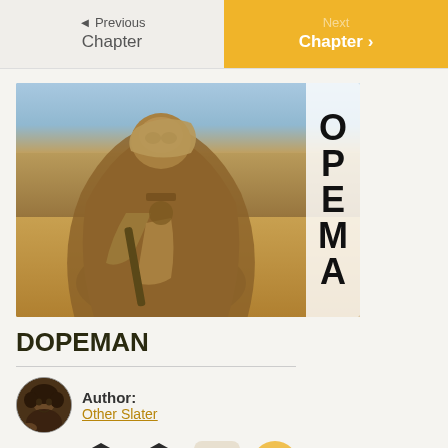◄ Previous Chapter | Next Chapter ►
[Figure (illustration): Book cover illustration showing a desert warrior/traveler in brown cloak holding a weapon, with sandy desert landscape background. Text 'DOPEMAN' visible on right side of image.]
DOPEMAN
Author: Other Slater